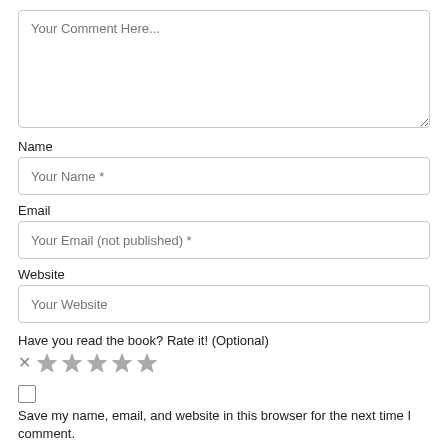Your Comment Here...
Name
Your Name *
Email
Your Email (not published) *
Website
Your Website
Have you read the book? Rate it! (Optional)
[Figure (other): Star rating widget with X cancel button and 5 star icons]
Save my name, email, and website in this browser for the next time I comment.